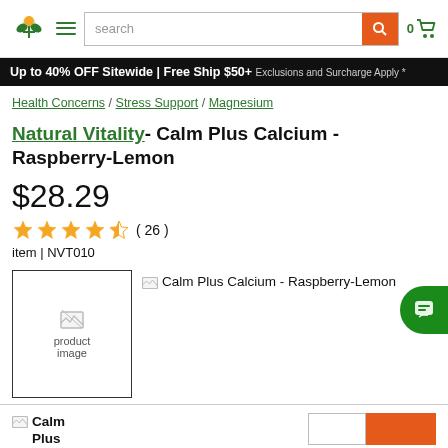Natural Healthy Concepts - search bar - cart 0
Up to 40% OFF Sitewide | Free Ship $50+ Exclusions and Surcharge Apply *
Health Concerns / Stress Support / Magnesium
Natural Vitality - Calm Plus Calcium - Raspberry-Lemon
$28.29
( 26 )
item | NVT010
[Figure (photo): Product thumbnail image placeholder and main product image for Calm Plus Calcium - Raspberry-Lemon]
Calm Plus Calcium